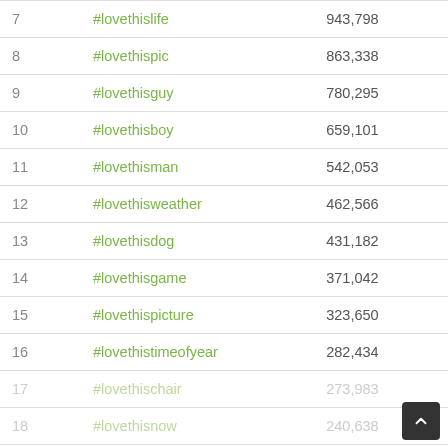| # | Hashtag | Count |
| --- | --- | --- |
| 7 | #lovethislife | 943,798 |
| 8 | #lovethispic | 863,338 |
| 9 | #lovethisguy | 780,295 |
| 10 | #lovethisboy | 659,101 |
| 11 | #lovethisman | 542,053 |
| 12 | #lovethisweather | 462,566 |
| 13 | #lovethisdog | 431,182 |
| 14 | #lovethisgame | 371,042 |
| 15 | #lovethispicture | 323,650 |
| 16 | #lovethistimeofyear | 282,434 |
| 17 | #lovethischair | 273,983 |
| 18 | #lovethisnow | 240,638 |